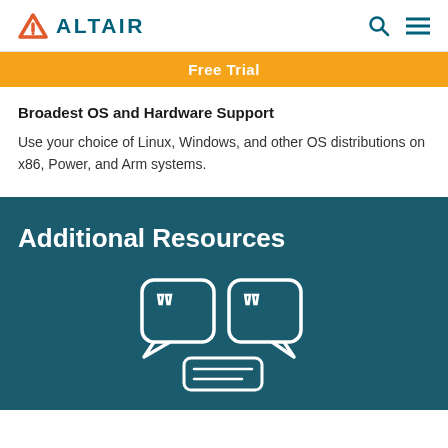ALTAIR
Free Trial
Broadest OS and Hardware Support
Use your choice of Linux, Windows, and other OS distributions on x86, Power, and Arm systems.
Additional Resources
[Figure (illustration): White outline icon of speech bubbles with quotation marks and text lines, on teal background]